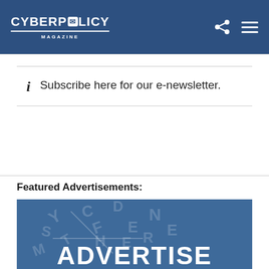CYBERPOLICY MAGAZINE
Subscribe here for our e-newsletter.
Featured Advertisements:
[Figure (illustration): Blue advertisement banner with scattered letters in the background and bold white text reading 'ADVERTISE HERE']